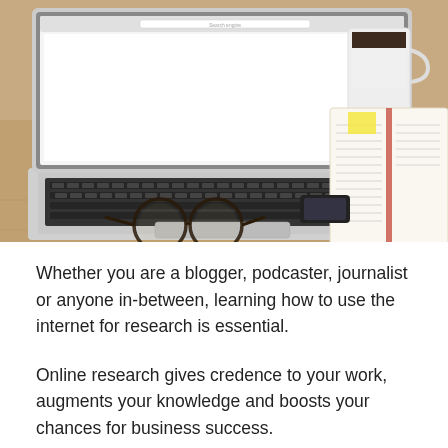[Figure (photo): A desk scene with an open laptop showing a search engine on screen, an open notebook with a sticky note, a cup of coffee, a black smartphone, and a pair of round glasses on a wooden table.]
Whether you are a blogger, podcaster, journalist or anyone in-between, learning how to use the internet for research is essential.
Online research gives credence to your work, augments your knowledge and boosts your chances for business success.
Proper reasearch proves to readers or even